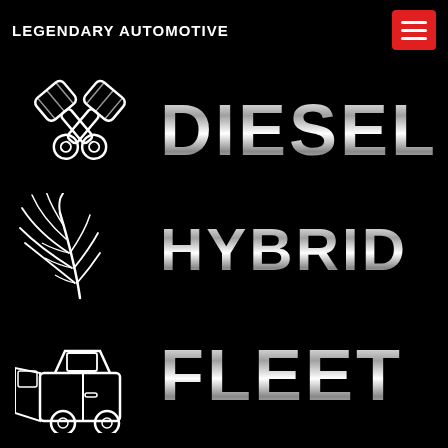LEGENDARY AUTOMOTIVE
[Figure (logo): Legendary Automotive logo page showing three service categories: DIESEL with crossed pistons icon, HYBRID with palm leaf icon, FLEET with car door icon, all on black background with silver metallic text]
DIESEL
HYBRID
FLEET